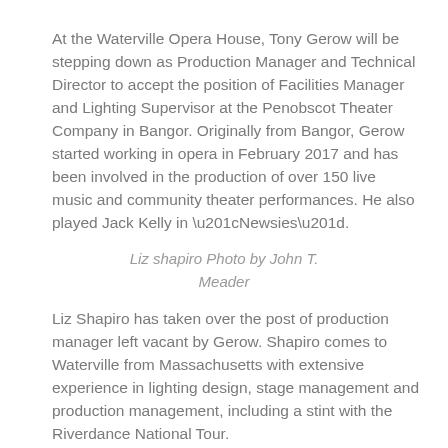At the Waterville Opera House, Tony Gerow will be stepping down as Production Manager and Technical Director to accept the position of Facilities Manager and Lighting Supervisor at the Penobscot Theater Company in Bangor. Originally from Bangor, Gerow started working in opera in February 2017 and has been involved in the production of over 150 live music and community theater performances. He also played Jack Kelly in “Newsies”.
Liz shapiro Photo by John T. Meader
Liz Shapiro has taken over the post of production manager left vacant by Gerow. Shapiro comes to Waterville from Massachusetts with extensive experience in lighting design, stage management and production management, including a stint with the Riverdance National Tour.